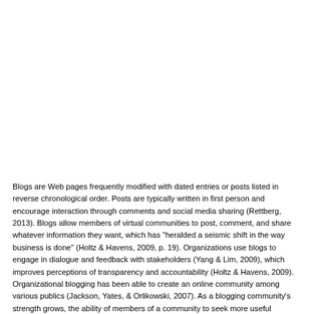Blogs are Web pages frequently modified with dated entries or posts listed in reverse chronological order. Posts are typically written in first person and encourage interaction through comments and social media sharing (Rettberg, 2013). Blogs allow members of virtual communities to post, comment, and share whatever information they want, which has "heralded a seismic shift in the way business is done" (Holtz & Havens, 2009, p. 19). Organizations use blogs to engage in dialogue and feedback with stakeholders (Yang & Lim, 2009), which improves perceptions of transparency and accountability (Holtz & Havens, 2009). Organizational blogging has been able to create an online community among various publics (Jackson, Yates, & Orlikowski, 2007). As a blogging community's strength grows, the ability of members of a community to seek more useful answers and more indepth information gathering increases. Members of